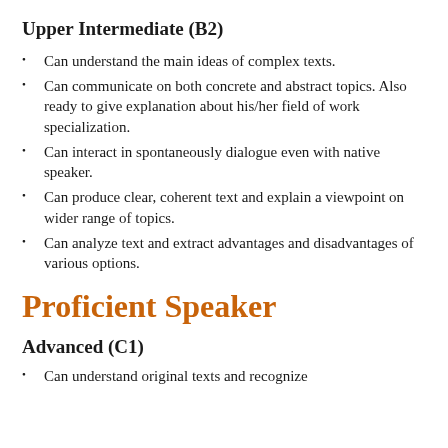Upper Intermediate (B2)
Can understand the main ideas of complex texts.
Can communicate on both concrete and abstract topics. Also ready to give explanation about his/her field of work specialization.
Can interact in spontaneously dialogue even with native speaker.
Can produce clear, coherent text and explain a viewpoint on wider range of topics.
Can analyze text and extract advantages and disadvantages of various options.
Proficient Speaker
Advanced (C1)
Can understand original texts and recognize implicit meanings.